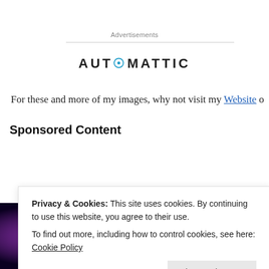Advertisements
[Figure (logo): Automattic logo with stylized '@' symbol in the word]
For these and more of my images, why not visit my Website o
Sponsored Content
[Figure (photo): Dark purple/blue image with glowing orb, partial text visible]
Privacy & Cookies: This site uses cookies. By continuing to use this website, you agree to their use.
To find out more, including how to control cookies, see here: Cookie Policy
Close and accept